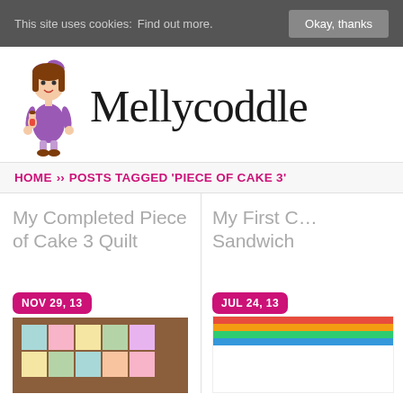This site uses cookies: Find out more. Okay, thanks
[Figure (logo): Mellycoddle blog logo with cartoon girl doll holding a smaller doll and cursive Mellycoddle text]
HOME > POSTS TAGGED 'PIECE OF CAKE 3'
My Completed Piece of Cake 3 Quilt
NOV 29, 13
[Figure (photo): Photo of a completed quilt on a table showing colorful square patchwork pattern]
My First C… Sandwich
JUL 24, 13
[Figure (photo): Partial photo of quilt sandwich with colorful fabric strips visible]